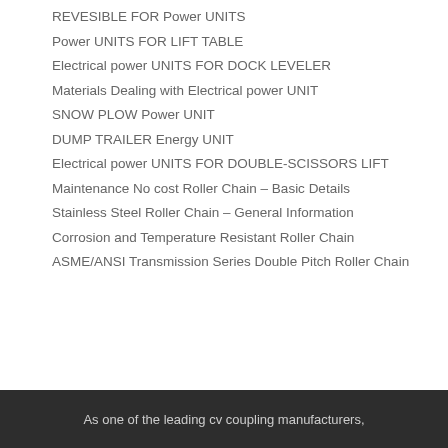REVESIBLE FOR Power UNITS
Power UNITS FOR LIFT TABLE
Electrical power UNITS FOR DOCK LEVELER
Materials Dealing with Electrical power UNIT
SNOW PLOW Power UNIT
DUMP TRAILER Energy UNIT
Electrical power UNITS FOR DOUBLE-SCISSORS LIFT
Maintenance No cost Roller Chain – Basic Details
Stainless Steel Roller Chain – General Information
Corrosion and Temperature Resistant Roller Chain
ASME/ANSI Transmission Series Double Pitch Roller Chain
As one of the leading cv coupling manufacturers,